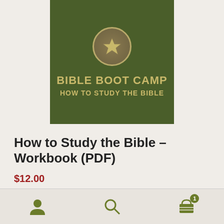[Figure (illustration): Bible Boot Camp book cover - dark olive green background with a star inside a circle emblem at top, text reading BIBLE BOOT CAMP HOW TO STUDY THE BIBLE in tan/gold letters]
How to Study the Bible – Workbook (PDF)
$12.00
Add to cart
Navigation footer with user icon, search icon, and cart icon with badge showing 1